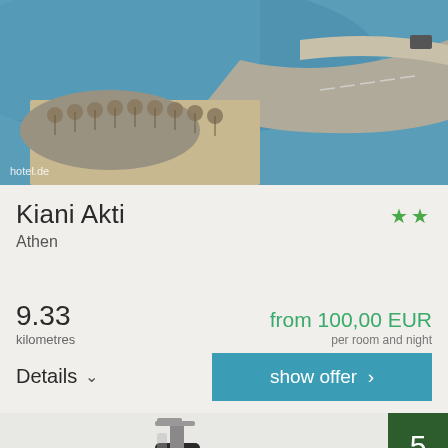[Figure (photo): Aerial/overhead view of a beach with straw umbrellas, rocky coastline, blue sea, and a curved road with a car. Watermark: hotel.de]
Kiani Akti
Athen
9.33
kilometres
from 100,00 EUR
per room and night
Details
show offer >
[Figure (photo): Photo of a black soap dispenser pump and bathroom accessories on a white surface. A dark green badge with number 5 is overlaid in the top-right corner.]